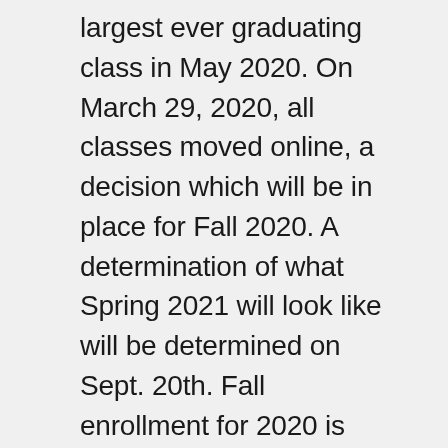largest ever graduating class in May 2020. On March 29, 2020, all classes moved online, a decision which will be in place for Fall 2020. A determination of what Spring 2021 will look like will be determined on Sept. 20th. Fall enrollment for 2020 is down 7%, which is better than other schools in our area. CHC is rethinking the best way to serve the community. Working with high school counselors allows high school students in the area to take courses at CHC to provide them a step up for their higher education choices. When COVID-19 appeared, the CHC faculty were required to take training for conducting online education. Congratulations to Crafton Hills College as they celebrate